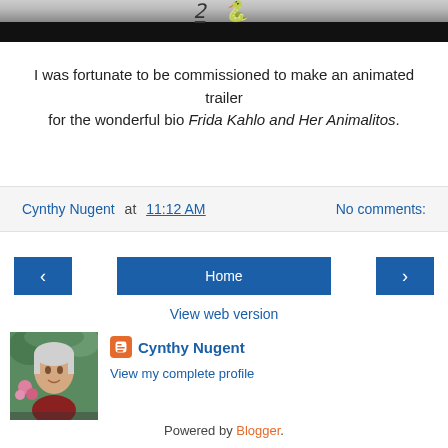[Figure (screenshot): Top portion of an animated trailer thumbnail showing stylized text and a dark bar at the bottom]
I was fortunate to be commissioned to make an animated trailer for the wonderful bio Frida Kahlo and Her Animalitos.
Cynthy Nugent at 11:12 AM   No comments:
Home
View web version
Cynthy Nugent
View my complete profile
Powered by Blogger.